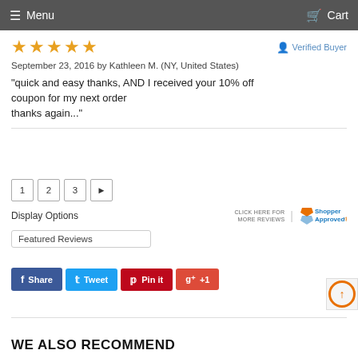Menu  Cart
★★★★★  Verified Buyer
September 23, 2016 by Kathleen M. (NY, United States)
“quick and easy thanks, AND I received your 10% off coupon for my next order thanks again...”
1  2  3  ►
Display Options
[Figure (logo): Shopper Approved logo with text CLICK HERE FOR MORE REVIEWS]
Featured Reviews
Share  Tweet  Pin it  +1
WE ALSO RECOMMEND